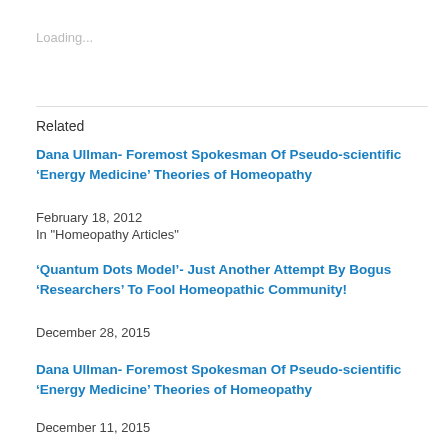Loading...
Related
Dana Ullman- Foremost Spokesman Of Pseudo-scientific ‘Energy Medicine’ Theories of Homeopathy
February 18, 2012
In "Homeopathy Articles"
‘Quantum Dots Model’- Just Another Attempt By Bogus ‘Researchers’ To Fool Homeopathic Community!
December 28, 2015
Dana Ullman- Foremost Spokesman Of Pseudo-scientific ‘Energy Medicine’ Theories of Homeopathy
December 11, 2015